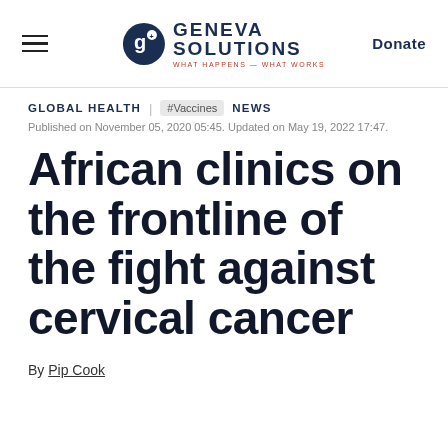Geneva Solutions — WHAT HAPPENS – WHAT WORKS | Donate
GLOBAL HEALTH | #Vaccines | NEWS
Published on November 05, 2020 05:45. Updated on May 19, 2022 17:47.
African clinics on the frontline of the fight against cervical cancer
By Pip Cook